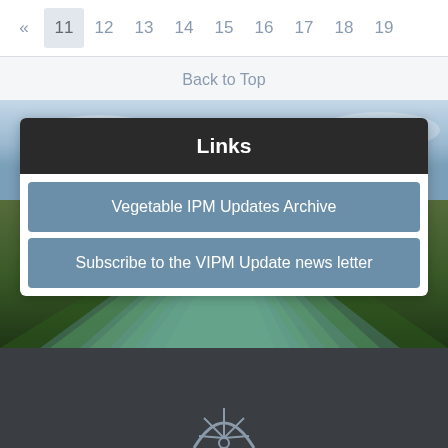| « | 11 | 12 | 13 | 14 | 15 | 16 | 17 | 18 | 19 |
| --- | --- | --- | --- | --- | --- | --- | --- | --- | --- |
Back to Top
[Figure (photo): Agricultural field with rows of green leafy vegetables (lettuce), viewed from above at an angle with sky visible in background]
Links
Vegetable IPM Updates Archive
Subscribe to the VIPM Update news letter
[Figure (logo): Wagon wheel logo at bottom of dark footer section]